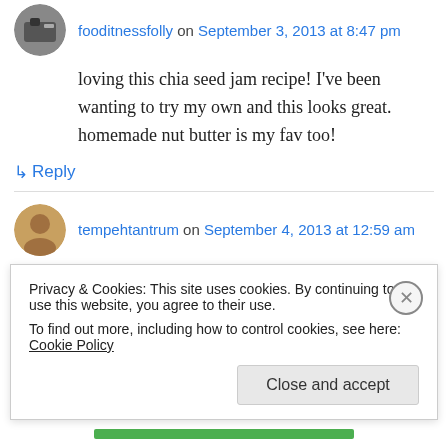fooditnessfolly on September 3, 2013 at 8:47 pm
loving this chia seed jam recipe! I've been wanting to try my own and this looks great. homemade nut butter is my fav too!
↳ Reply
tempehtantrum on September 4, 2013 at 12:59 am
They both look good, but that nut butter: YES!!!
↳ Reply
Privacy & Cookies: This site uses cookies. By continuing to use this website, you agree to their use.
To find out more, including how to control cookies, see here: Cookie Policy
Close and accept